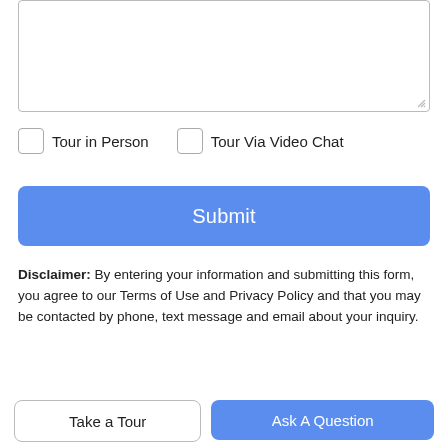[Figure (screenshot): Empty textarea input box with resize handle at bottom right]
Tour in Person   Tour Via Video Chat
Submit
Disclaimer: By entering your information and submitting this form, you agree to our Terms of Use and Privacy Policy and that you may be contacted by phone, text message and email about your inquiry.
[Figure (logo): MLS GRID logo with stacked colored squares and text]
Based on information submitted to the MLS GRID as of 2022-08-22T12:33:52.107 UTC. All data is obtained from various sources and may not have been verified by broker or MLS GRID. Supplied Open House Information is
Take a Tour
Ask A Question